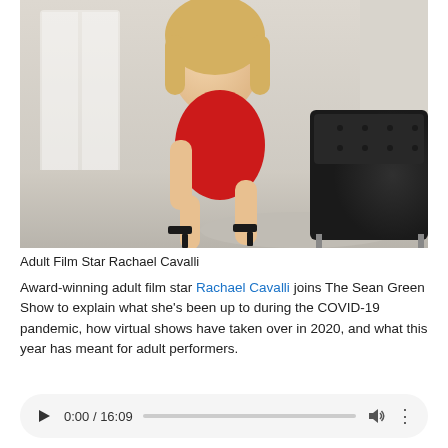[Figure (photo): Adult Film Star Rachael Cavalli posed in a red dress on a black leather couch in a modern room]
Adult Film Star Rachael Cavalli
Award-winning adult film star Rachael Cavalli joins The Sean Green Show to explain what she’s been up to during the COVID-19 pandemic, how virtual shows have taken over in 2020, and what this year has meant for adult performers.
[Figure (other): Audio player showing 0:00 / 16:09 with play button, progress bar, volume control, and more options]